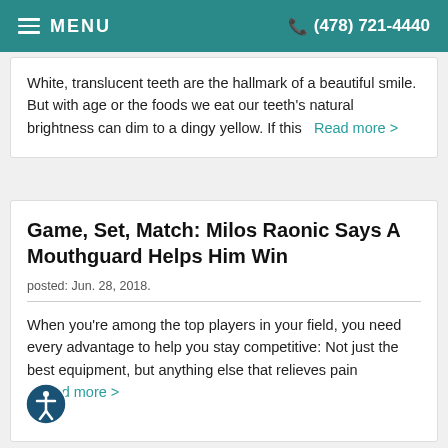MENU  (478) 721-4440
White, translucent teeth are the hallmark of a beautiful smile. But with age or the foods we eat our teeth's natural brightness can dim to a dingy yellow. If this   Read more >
Game, Set, Match: Milos Raonic Says A Mouthguard Helps Him Win
posted: Jun. 28, 2018.
When you're among the top players in your field, you need every advantage to help you stay competitive: Not just the best equipment, but anything else that relieves pain  Read more >